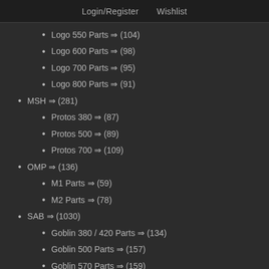Login/Register   Wishlist
Logo 550 Parts ⇒ (104)
Logo 600 Parts ⇒ (98)
Logo 700 Parts ⇒ (95)
Logo 800 Parts ⇒ (91)
MSH ⇒ (281)
Protos 380 ⇒ (87)
Protos 500 ⇒ (89)
Protos 700 ⇒ (109)
OMP ⇒ (136)
M1 Parts ⇒ (59)
M2 Parts ⇒ (78)
SAB ⇒ (1030)
Goblin 380 / 420 Parts ⇒ (134)
Goblin 500 Parts ⇒ (157)
Goblin 570 Parts ⇒ (159)
Goblin 630 Parts ⇒ (216)
Goblin 700 Parts ⇒ (249)